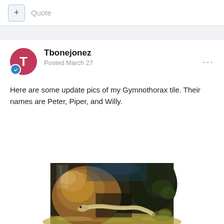Quote
Tbonejonez
Posted March 27
Here are some update pics of my Gymnothorax tile. Their names are Peter, Piper, and Willy.
[Figure (photo): Aquarium photo showing a Gymnothorax tile (moray eel) among rocks and driftwood on a sandy bottom. The eel's head is visible between a large brown rock on the left and a dark mossy piece of driftwood on the right.]